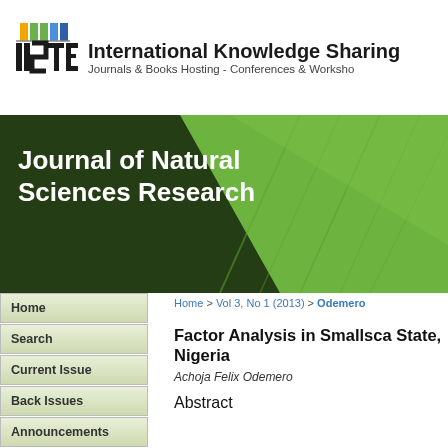[Figure (logo): IISTE logo with colored bars and text 'International Knowledge Sharing, Journals & Books Hosting - Conferences & Workshops']
[Figure (illustration): Journal of Natural Sciences Research banner with dark green left panel and green leaf texture on right, white bold text 'Journal of Natural Sciences Research']
Home
Search
Current Issue
Back Issues
Announcements
Full List of Journals
Home > Vol 3, No 1 (2013) > Odemero
Factor Analysis in Smallsca State, Nigeria
Achoja Felix Odemero
Abstract